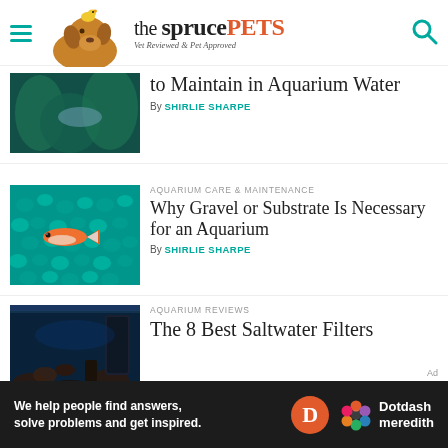the spruce PETS — Vet Reviewed & Pet Approved
[Figure (illustration): Dog with a small yellow bird perched on its head, illustrated logo for The Spruce Pets]
to Maintain in Aquarium Water
By SHIRLIE SHARPE
[Figure (photo): Orange fish swimming over bright teal/green aquarium gravel substrate]
AQUARIUM CARE & MAINTENANCE
Why Gravel or Substrate Is Necessary for an Aquarium
By SHIRLIE SHARPE
[Figure (photo): Dark aquarium with saltwater setup, coral and filter equipment visible]
AQUARIUM REVIEWS
The 8 Best Saltwater Filters
We help people find answers, solve problems and get inspired. Dotdash meredith